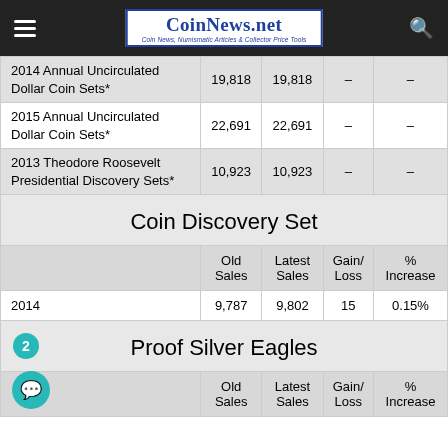CoinNews.net — Coin News, Numismatic Articles & Collector Price Tools
|  | Old Sales | Latest Sales | Gain/Loss | % Increase |
| --- | --- | --- | --- | --- |
| 2014 Annual Uncirculated Dollar Coin Sets* | 19,818 | 19,818 | – | – |
| 2015 Annual Uncirculated Dollar Coin Sets* | 22,691 | 22,691 | – | – |
| 2013 Theodore Roosevelt Presidential Discovery Sets* | 10,923 | 10,923 | – | – |
Coin Discovery Set
|  | Old Sales | Latest Sales | Gain/Loss | % Increase |
| --- | --- | --- | --- | --- |
| 2014 | 9,787 | 9,802 | 15 | 0.15% |
Proof Silver Eagles
|  | Old Sales | Latest Sales | Gain/Loss | % Increase |
| --- | --- | --- | --- | --- |